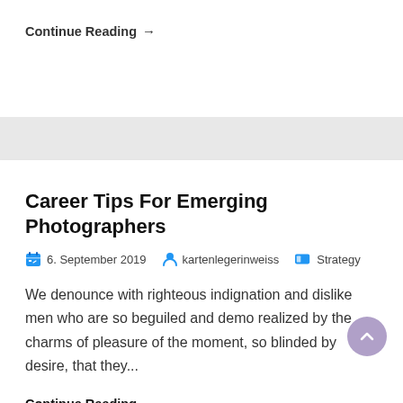Continue Reading →
Career Tips For Emerging Photographers
6. September 2019   kartenlegerinweiss   Strategy
We denounce with righteous indignation and dislike men who are so beguiled and demo realized by the charms of pleasure of the moment, so blinded by desire, that they...
Continue Reading →